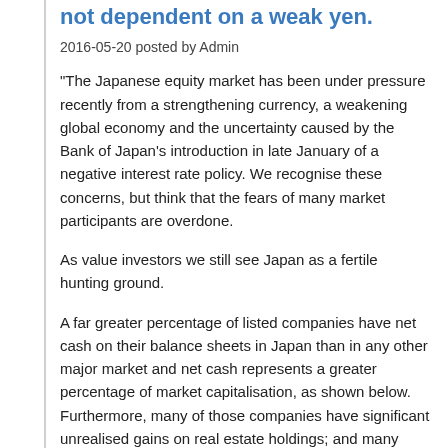not dependent on a weak yen.
2016-05-20 posted by Admin
"The Japanese equity market has been under pressure recently from a strengthening currency, a weakening global economy and the uncertainty caused by the Bank of Japan's introduction in late January of a negative interest rate policy. We recognise these concerns, but think that the fears of many market participants are overdone.
As value investors we still see Japan as a fertile hunting ground.
A far greater percentage of listed companies have net cash on their balance sheets in Japan than in any other major market and net cash represents a greater percentage of market capitalisation, as shown below. Furthermore, many of those companies have significant unrealised gains on real estate holdings; and many have large holdings of listed equities, some for strategic business purposes, but some for no reason other than historic relationships.